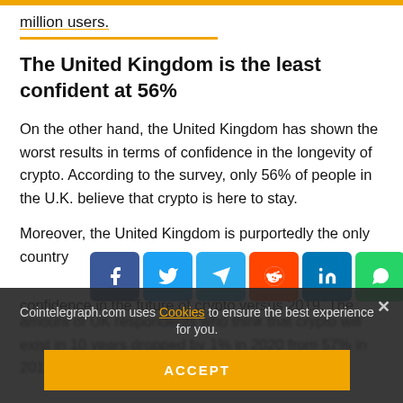million users.
The United Kingdom is the least confident at 56%
On the other hand, the United Kingdom has shown the worst results in terms of confidence in the longevity of crypto. According to the survey, only 56% of people in the U.K. believe that crypto is here to stay.
Moreover, the United Kingdom is purportedly the only country... of confidence in the future of crypto versus 2019. The amount of UK respondents who think that crypto will exist in 10 years dropped by 1% in 2020 from 57% in 2019. In Norway, the ... from 74% in 2019 to 67% in 2020.
[Figure (screenshot): Social media share buttons: Facebook, Twitter, Telegram, Reddit, LinkedIn, WhatsApp, Copy, scroll-up]
Cointelegraph.com uses Cookies to ensure the best experience for you.
ACCEPT